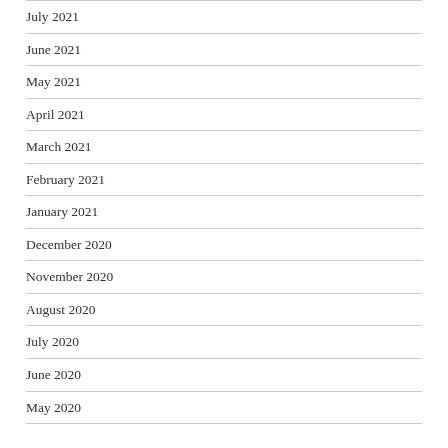July 2021
June 2021
May 2021
April 2021
March 2021
February 2021
January 2021
December 2020
November 2020
August 2020
July 2020
June 2020
May 2020